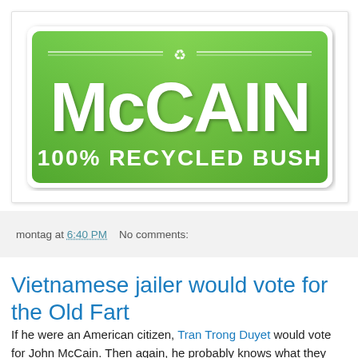[Figure (illustration): A political bumper sticker parody on a green gradient background. Large white bold text reads 'McCAIN' with a recycling symbol above it, and below in white bold text '100% RECYCLED BUSH'. The sticker has a white border and rounded rectangle shape with a drop shadow.]
montag at 6:40 PM   No comments:
Vietnamese jailer would vote for the Old Fart
If he were an American citizen, Tran Trong Duyet would vote for John McCain. Then again, he probably knows what they